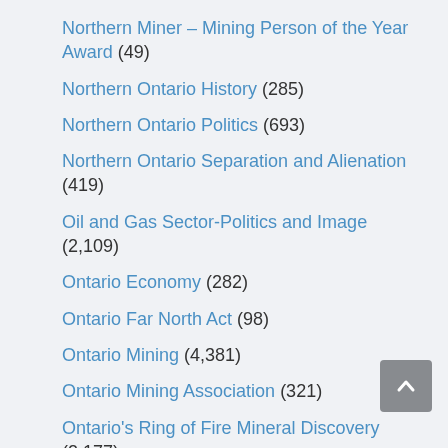Northern Miner – Mining Person of the Year Award (49)
Northern Ontario History (285)
Northern Ontario Politics (693)
Northern Ontario Separation and Alienation (419)
Oil and Gas Sector-Politics and Image (2,109)
Ontario Economy (282)
Ontario Far North Act (98)
Ontario Mining (4,381)
Ontario Mining Association (321)
Ontario's Ring of Fire Mineral Discovery (2,177)
PDAC (82)